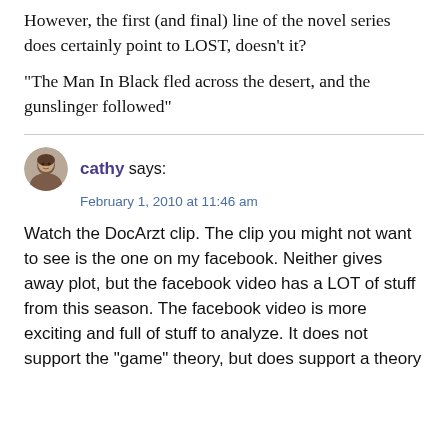However, the first (and final) line of the novel series does certainly point to LOST, doesn't it?
“The Man In Black fled across the desert, and the gunslinger followed”
cathy says:
February 1, 2010 at 11:46 am
Watch the DocArzt clip. The clip you might not want to see is the one on my facebook. Neither gives away plot, but the facebook video has a LOT of stuff from this season. The facebook video is more exciting and full of stuff to analyze. It does not support the “game” theory, but does support a theory